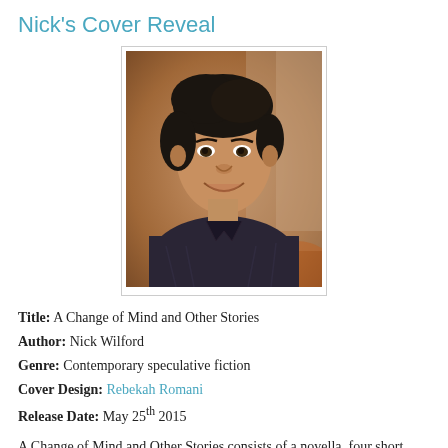Nick's Cover Reveal
[Figure (photo): Portrait photo of Nick Wilford, a man with dark wavy hair wearing a dark striped shirt, smiling, seated indoors with a warm-toned background.]
Title: A Change of Mind and Other Stories
Author: Nick Wilford
Genre: Contemporary speculative fiction
Cover Design: Rebekah Romani
Release Date: May 25th 2015
A Change of Mind and Other Stories consists of a novella, four short stories and one flash fiction piece. This collection puts the